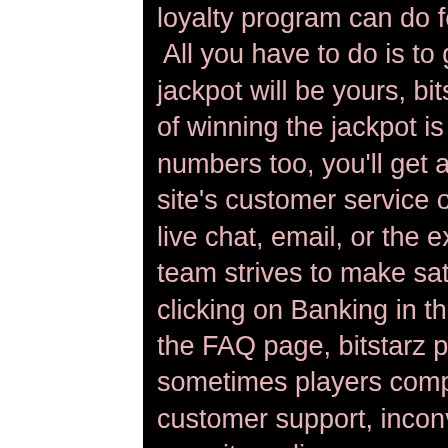loyalty program can do for for you. All you have to do is to guess the correct numbers and the jackpot will be yours, bitstarz promo codes 2021. The chance of winning the jackpot is very low, but if you match lower numbers too, you'll get amazing prizes. We also looked at the site's customer service options and found that whether through live chat, email, or the extensive FAQ section, the support team strives to make satisfying your needs a top priority. By clicking on Banking in the footer of the site, you'll be taken to the FAQ page, bitstarz promo code 2020. For example, sometimes players complain about bad treatment from customer support, inconvenient payment system, troubles with security, online scams, and many more. If previous players are providing negative reviews, probably the online gambling site is not worth trying. If they are saying positive things, it's important